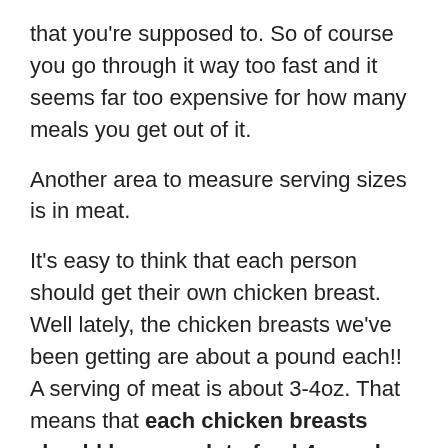that you're supposed to. So of course you go through it way too fast and it seems far too expensive for how many meals you get out of it.
Another area to measure serving sizes is in meat.
It's easy to think that each person should get their own chicken breast. Well lately, the chicken breasts we've been getting are about a pound each!! A serving of meat is about 3-4oz. That means that each chicken breasts should be enough to feed 4 people instead of 1! That's going to make a big difference in the budget.